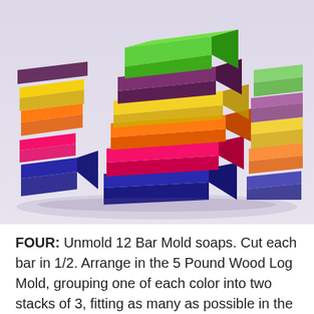[Figure (photo): Stacked colorful translucent soap bars in green, purple, yellow, orange, pink/magenta, and dark blue/indigo arranged in leaning stacks on a light gray/lavender surface.]
FOUR: Unmold 12 Bar Mold soaps. Cut each bar in 1/2. Arrange in the 5 Pound Wood Log Mold, grouping one of each color into two stacks of 3, fitting as many as possible in the mold. Note to ensure that the